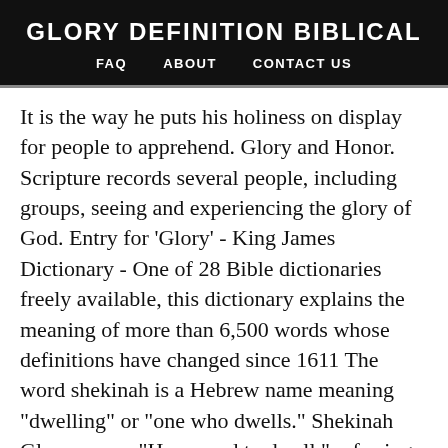GLORY DEFINITION BIBLICAL
FAQ   ABOUT   CONTACT US
It is the way he puts his holiness on display for people to apprehend. Glory and Honor. Scripture records several people, including groups, seeing and experiencing the glory of God. Entry for 'Glory' - King James Dictionary - One of 28 Bible dictionaries freely available, this dictionary explains the meaning of more than 6,500 words whose definitions have changed since 1611 The word shekinah is a Hebrew name meaning “dwelling” or “one who dwells.” Shekinah Glory means “He caused to dwell,” referring to the divine presence of